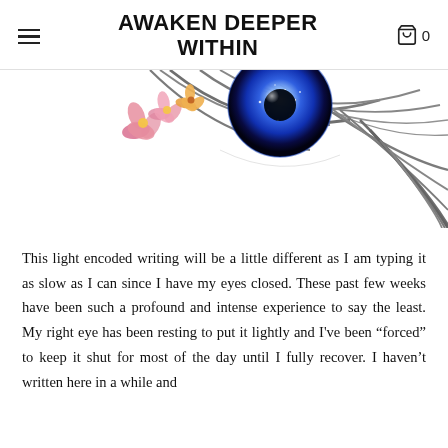AWAKEN DEEPER WITHIN
[Figure (illustration): Artistic illustration of a human eye with a blue cosmic/galaxy iris, floral elements with pink and yellow flowers, and dark feather-like eyelashes on a white background.]
This light encoded writing will be a little different as I am typing it as slow as I can since I have my eyes closed. These past few weeks have been such a profound and intense experience to say the least. My right eye has been resting to put it lightly and I've been “forced” to keep it shut for most of the day until I fully recover. I haven’t written here in a while and